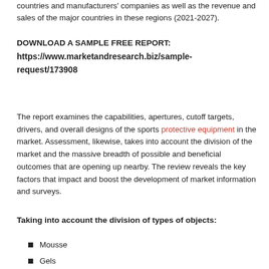countries and manufacturers' companies as well as the revenue and sales of the major countries in these regions (2021-2027).
DOWNLOAD A SAMPLE FREE REPORT: https://www.marketandresearch.biz/sample-request/173908
The report examines the capabilities, apertures, cutoff targets, drivers, and overall designs of the sports protective equipment in the market. Assessment, likewise, takes into account the division of the market and the massive breadth of possible and beneficial outcomes that are opening up nearby. The review reveals the key factors that impact and boost the development of market information and surveys.
Taking into account the division of types of objects:
Mousse
Gels